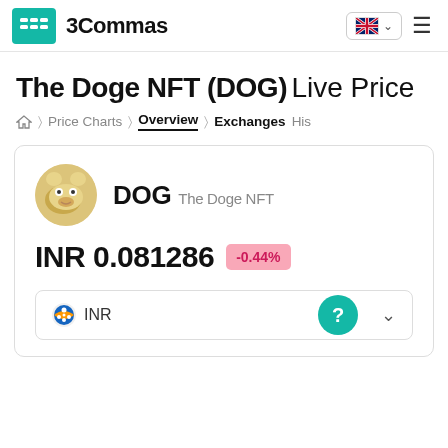3Commas
The Doge NFT (DOG) Live Price
Price Charts > Overview > Exchanges > His
DOG The Doge NFT
INR 0.081286 -0.44%
INR